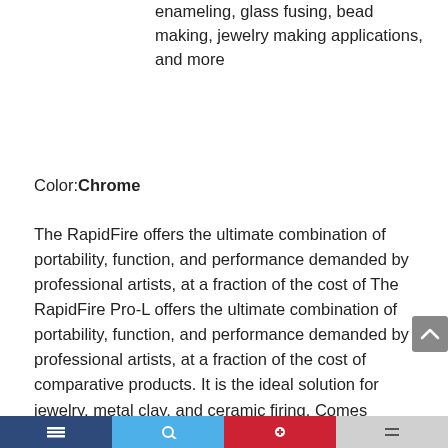enameling, glass fusing, bead making, jewelry making applications, and more
Color: Chrome
The RapidFire offers the ultimate combination of portability, function, and performance demanded by professional artists, at a fraction of the cost of The RapidFire Pro-L offers the ultimate combination of portability, function, and performance demanded by professional artists, at a fraction of the cost of comparative products. It is the ideal solution for jewelry, metal clay, and ceramic firing. Comes complete with a digital control panel, embedded heating element, a 6″ x 5″ x 6″ firing chamber, 1500 watts of power, and a wide